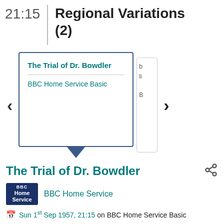21:15
Regional Variations (2)
[Figure (screenshot): A popup card showing 'The Trial of Dr. Bowdler' title in teal, a divider, and 'BBC Home Service Basic' text in teal, with a downward pointing arrow at the bottom in dark blue. Left and right navigation arrows flank the card. A partially visible card is to the right.]
The Trial of Dr. Bowdler
[Figure (logo): BBC Home Service logo: dark navy blue rectangle with 'BBC' in small white letters top-left, 'Home Service' in white below]
BBC Home Service
Sun 1st Sep 1957, 21:15 on BBC Home Service Basic